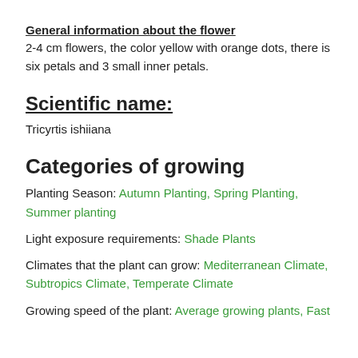General information about the flower
2-4 cm flowers, the color yellow with orange dots, there is six petals and 3 small inner petals.
Scientific name:
Tricyrtis ishiiana
Categories of growing
Planting Season: Autumn Planting, Spring Planting, Summer planting
Light exposure requirements: Shade Plants
Climates that the plant can grow: Mediterranean Climate, Subtropics Climate, Temperate Climate
Growing speed of the plant: Average growing plants, Fast growing plants